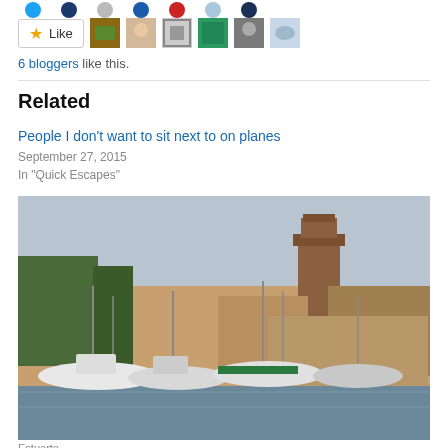[Figure (other): Row of circular avatar icons in various colors (blue, dark blue, gray, blue, red, light blue, dark blue)]
[Figure (other): Like button with star icon followed by six blogger avatar thumbnails (chameleon photo, blonde woman, geometric pattern, green pattern, man in hat, eye close-up)]
6 bloggers like this.
Related
People I don't want to sit next to on planes
September 27, 2015
In "Quick Escapes"
[Figure (photo): Harbor scene with fishing boats moored along a waterfront, with a medieval brick bell tower and terracotta-roofed buildings in the background under a hazy sky]